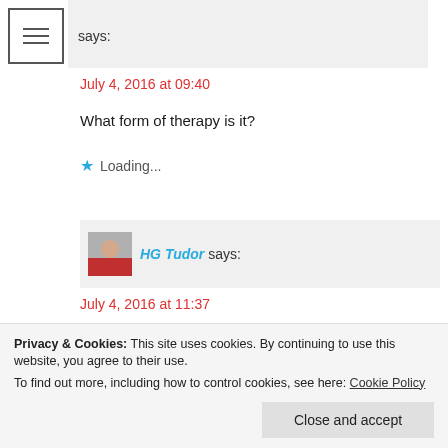[Figure (other): Hamburger menu icon (three horizontal lines in a square border)]
says:
July 4, 2016 at 09:40
What form of therapy is it?
Loading...
[Figure (photo): Avatar thumbnail of HG Tudor]
HG Tudor says:
July 4, 2016 at 11:37
Individual psychoanalytic
Privacy & Cookies: This site uses cookies. By continuing to use this website, you agree to their use.
To find out more, including how to control cookies, see here: Cookie Policy
Close and accept